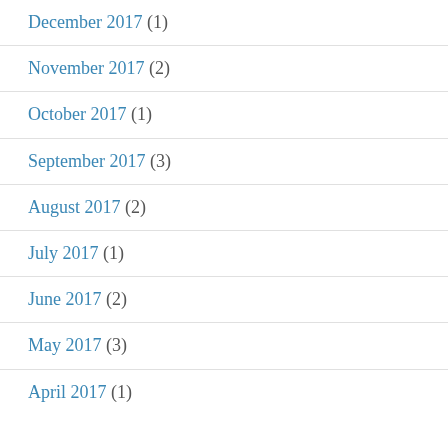December 2017 (1)
November 2017 (2)
October 2017 (1)
September 2017 (3)
August 2017 (2)
July 2017 (1)
June 2017 (2)
May 2017 (3)
April 2017 (1)